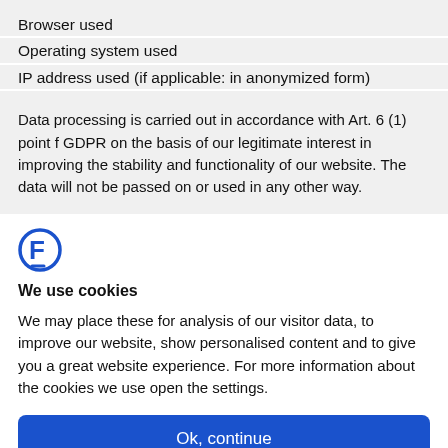Browser used
Operating system used
IP address used (if applicable: in anonymized form)
Data processing is carried out in accordance with Art. 6 (1) point f GDPR on the basis of our legitimate interest in improving the stability and functionality of our website. The data will not be passed on or used in any other way.
[Figure (logo): Blue stylized letter F logo icon]
We use cookies
We may place these for analysis of our visitor data, to improve our website, show personalised content and to give you a great website experience. For more information about the cookies we use open the settings.